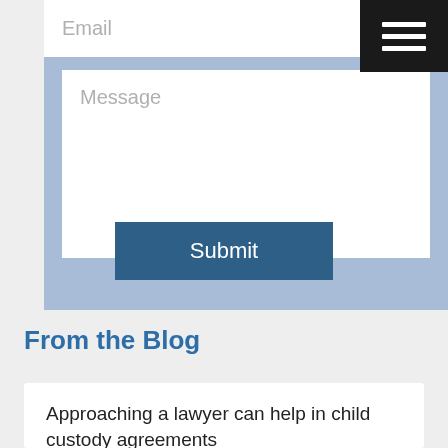[Figure (screenshot): Email input field with light blue background form section and hamburger menu button in top right corner]
[Figure (screenshot): Message textarea input field on blue background]
[Figure (screenshot): Submit button centered on blue background]
From the Blog
Approaching a lawyer can help in child custody agreements